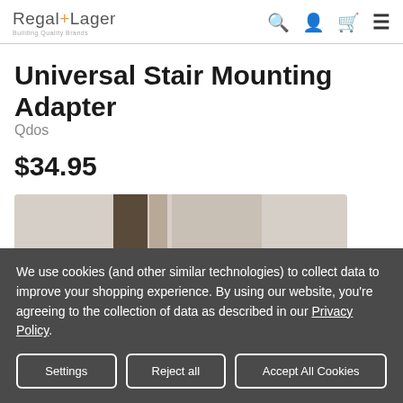Regal+Lager — Building Quality Brands
Universal Stair Mounting Adapter
Qdos
$34.95
[Figure (photo): Close-up photo of a Universal Stair Mounting Adapter hardware piece showing metal brackets and wooden stair parts.]
We use cookies (and other similar technologies) to collect data to improve your shopping experience. By using our website, you're agreeing to the collection of data as described in our Privacy Policy.